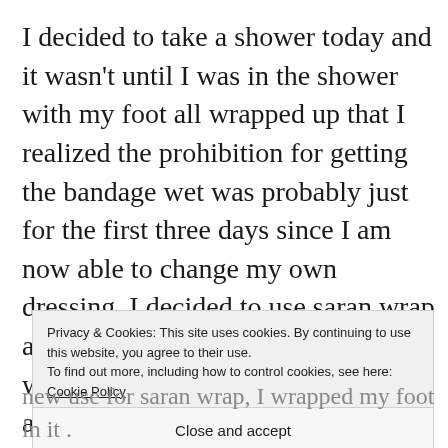I decided to take a shower today and it wasn't until I was in the shower with my foot all wrapped up that I realized the prohibition for getting the bandage wet was probably just for the first three days since I am now able to change my own dressing. I decided to use saran wrap and wrapped my foot entirely up with the wrap, put it in a plastic bag and then taped the
Privacy & Cookies: This site uses cookies. By continuing to use this website, you agree to their use.
To find out more, including how to control cookies, see here: Cookie Policy
Close and accept
new use for saran wrap, I wrapped my foot in it .